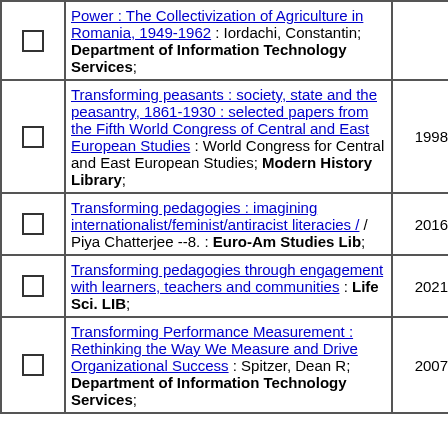|  | Title / Author / Location | Year | Copies |
| --- | --- | --- | --- |
| ☐ | Power : The Collectivization of Agriculture in Romania, 1949-1962 : Iordachi, Constantin; Department of Information Technology Services; |  | 1 |
| ☐ | Transforming peasants : society, state and the peasantry, 1861-1930 : selected papers from the Fifth World Congress of Central and East European Studies : World Congress for Central and East European Studies; Modern History Library; | 1998 | 1 |
| ☐ | Transforming pedagogies : imagining internationalist/feminist/antiracist literacies / / Piya Chatterjee --8. : Euro-Am Studies Lib; | 2016 | 1 |
| ☐ | Transforming pedagogies through engagement with learners, teachers and communities : Life Sci. LIB; | 2021 | 1 |
| ☐ | Transforming Performance Measurement : Rethinking the Way We Measure and Drive Organizational Success : Spitzer, Dean R; Department of Information Technology Services; | 2007 | 1 |